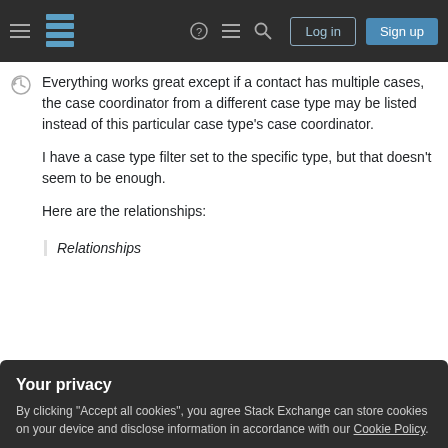Stack Exchange navigation header with logo, Log in, and Sign up buttons
Everything works great except if a contact has multiple cases, the case coordinator from a different case type may be listed instead of this particular case type's case coordinator.

I have a case type filter set to the specific type, but that doesn't seem to be enough.

Here are the relationships:
Relationships
[Figure (screenshot): Privacy consent banner overlay with title 'Your privacy', body text about cookies and Cookie Policy link, and two buttons: 'Accept all cookies' and 'Customize settings']
Here are the filters: